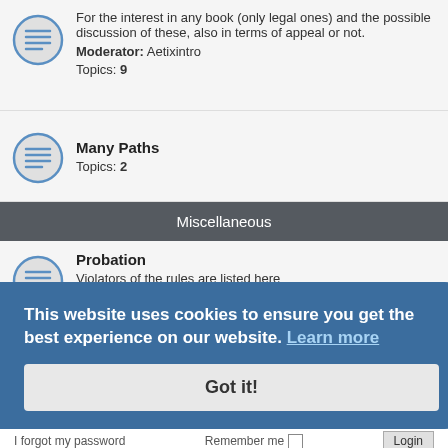For the interest in any book (only legal ones) and the possible discussion of these, also in terms of appeal or not. Moderator: Aetixintro Topics: 9
Many Paths
Topics: 2
Miscellaneous
Probation
Violators of the rules are listed here
Moderator: Moderators
Topics: 251
LOGIN • REGISTER
Username:
Password:
I forgot my password
Remember me
Login
This website uses cookies to ensure you get the best experience on our website. Learn more
Got it!